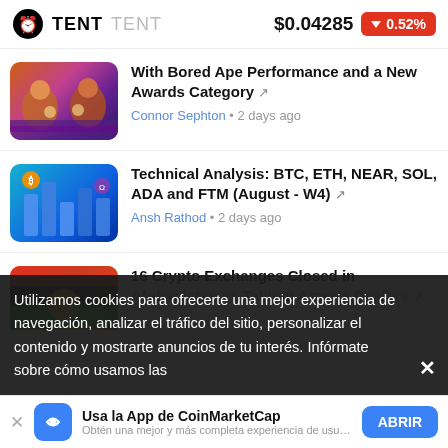TENT TENT $0.04285 ▼0.52%
[Figure (screenshot): Thumbnail image with cartoon characters, purple/orange tones]
With Bored Ape Performance and a New Awards Category
Connor Sephton • 2 days ago
[Figure (screenshot): Thumbnail image with blue 3D crypto city skyline]
Technical Analysis: BTC, ETH, NEAR, SOL, ADA and FTM (August - W4)
Ansh Rathod • 2 days ago
[Figure (screenshot): Thumbnail image with Afghanistan flag colors]
16 Crypto Exchanges Closed in Afghanistan as Taliban Arrests Dealers
Utilizamos cookies para ofrecerte una mejor experiencia de navegación, analizar el tráfico del sitio, personalizar el contenido y mostrarte anuncios de tu interés. Infórmate sobre cómo usamos las
Usa la App de CoinMarketCap
Obtén una mejor y más completa experiencia de usuario
ABRIR